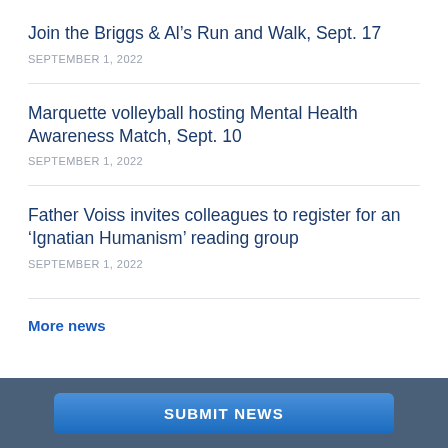Join the Briggs & Al’s Run and Walk, Sept. 17
SEPTEMBER 1, 2022
Marquette volleyball hosting Mental Health Awareness Match, Sept. 10
SEPTEMBER 1, 2022
Father Voiss invites colleagues to register for an ‘Ignatian Humanism’ reading group
SEPTEMBER 1, 2022
More news
SUBMIT NEWS